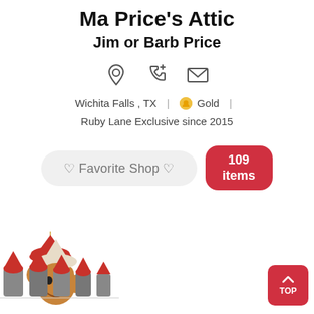Ma Price's Attic
Jim or Barb Price
[Figure (infographic): Three icons: location pin, phone with plus, envelope]
Wichita Falls , TX | Gold | Ruby Lane Exclusive since 2015
♡ Favorite Shop ♡
109 items
[Figure (photo): Bottom row of product thumbnails: elf ornaments and small figurines with red hats]
TOP